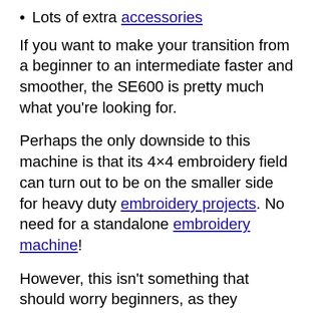Lots of extra accessories
If you want to make your transition from a beginner to an intermediate faster and smoother, the SE600 is pretty much what you're looking for.
Perhaps the only downside to this machine is that its 4×4 embroidery field can turn out to be on the smaller side for heavy duty embroidery projects. No need for a standalone embroidery machine!
However, this isn't something that should worry beginners, as they wouldn't find themselves working on such projects anytime soon anyway.